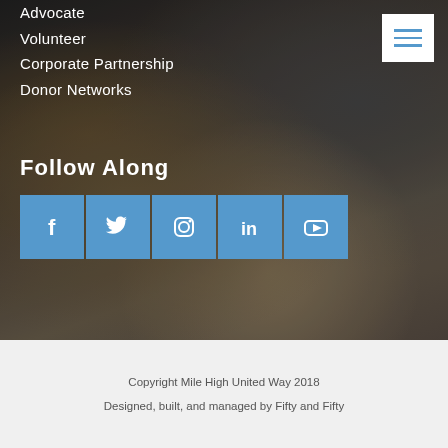Advocate
Volunteer
Corporate Partnership
Donor Networks
[Figure (other): White hamburger/menu icon button on white square background, top right corner]
Follow Along
[Figure (infographic): Five social media icon buttons in blue squares: Facebook (f), Twitter (bird), Instagram (camera), LinkedIn (in), YouTube (play button)]
[Figure (photo): Blurred background photo of a hand holding a pencil writing in a notebook, dark overlay]
Copyright Mile High United Way 2018
Designed, built, and managed by Fifty and Fifty